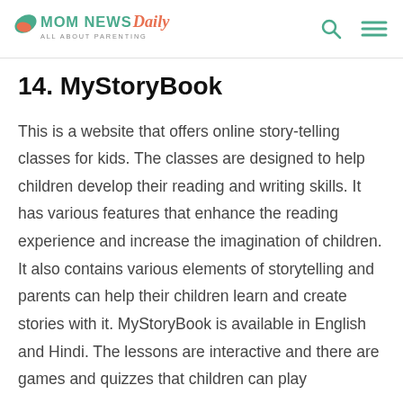MOM NEWS Daily ALL ABOUT PARENTING
14. MyStoryBook
This is a website that offers online story-telling classes for kids. The classes are designed to help children develop their reading and writing skills. It has various features that enhance the reading experience and increase the imagination of children. It also contains various elements of storytelling and parents can help their children learn and create stories with it. MyStoryBook is available in English and Hindi. The lessons are interactive and there are games and quizzes that children can play